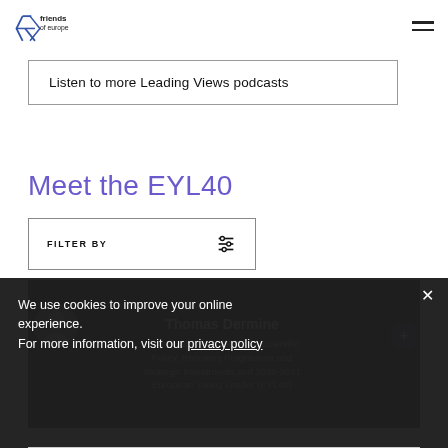[Figure (logo): Friends of Europe logo — star graphic with 'friends of europe' text]
Listen to more Leading Views podcasts
Meet the EYL40
FILTER BY
Thomas Dermine
Belgian State Secretary for Scientific Policy, Recovery Programme and Startegic Investments and 2020-2021 European Young Leader (EYL40)
We use cookies to improve your online experience.
For more information, visit our privacy policy